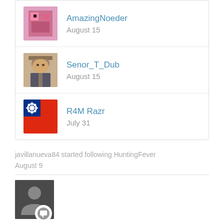AmazingNoeder
August 15
Senor_T_Dub
August 15
R4M Razr
July 31
javillanueva84 started following HuntingFever
August 9
[Figure (photo): User avatar placeholder with comment badge]
Platinum in under 2 hours?
javillanueva84 posted a topic in Crash Bandicoot 4: It's About Time
I'm planning to start this game and a few people got 100% in under 2 hours? Like how is this possible? Are their shortcuts or something